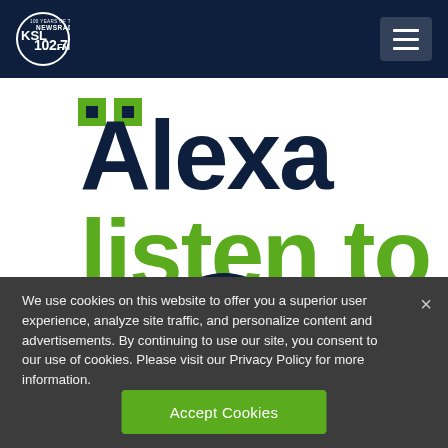KSL NewsRadio 102.7FM — 100 Years of Trust
[Figure (screenshot): KSL NewsRadio 102.7FM website banner showing large text: quote marks, 'Alexa' in dark navy, 'listen to' in green, with a partial KSL logo circle at bottom]
We use cookies on this website to offer you a superior user experience, analyze site traffic, and personalize content and advertisements. By continuing to use our site, you consent to our use of cookies. Please visit our Privacy Policy for more information.
Accept Cookies